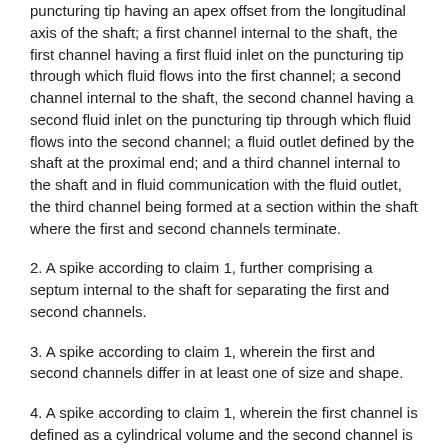puncturing tip having an apex offset from the longitudinal axis of the shaft; a first channel internal to the shaft, the first channel having a first fluid inlet on the puncturing tip through which fluid flows into the first channel; a second channel internal to the shaft, the second channel having a second fluid inlet on the puncturing tip through which fluid flows into the second channel; a fluid outlet defined by the shaft at the proximal end; and a third channel internal to the shaft and in fluid communication with the fluid outlet, the third channel being formed at a section within the shaft where the first and second channels terminate.
2. A spike according to claim 1, further comprising a septum internal to the shaft for separating the first and second channels.
3. A spike according to claim 1, wherein the first and second channels differ in at least one of size and shape.
4. A spike according to claim 1, wherein the first channel is defined as a cylindrical volume and the second channel is defined as an elliptic cylindrical volume.
5. A spike according to claim 1, further comprising a retention barb disposed at the proximal end and defining the fluid outlet, the retention barb being configured to receive and retain fluid tubing thereon.